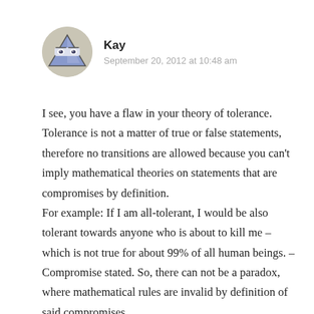[Figure (illustration): Circular avatar image with a stylized blue triangle/pyramid character with eyes, on a beige/tan background]
Kay
September 20, 2012 at 10:48 am
I see, you have a flaw in your theory of tolerance. Tolerance is not a matter of true or false statements, therefore no transitions are allowed because you can't imply mathematical theories on statements that are compromises by definition. For example: If I am all-tolerant, I would be also tolerant towards anyone who is about to kill me – which is not true for about 99% of all human beings. – Compromise stated. So, there can not be a paradox, where mathematical rules are invalid by definition of said compromises.